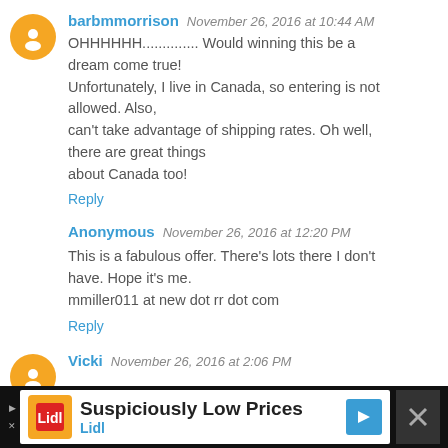barbmmorrison  November 26, 2016 at 10:44 AM
OHHHHHH.............. Would winning this be a dream come true!
Unfortunately, I live in Canada, so entering is not allowed. Also,
can't take advantage of shipping rates. Oh well, there are great things
about Canada too!
Reply
Anonymous  November 26, 2016 at 12:20 PM
This is a fabulous offer. There's lots there I don't have. Hope it's me.
mmiller011 at new dot rr dot com
Reply
Vicki  November 26, 2016 at 2:06 PM
[Figure (screenshot): Mobile advertisement banner for Lidl 'Suspiciously Low Prices' at the bottom of the screen]